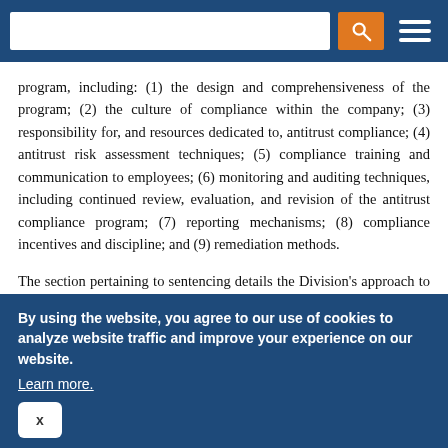[Navigation bar with search input, orange search button, and hamburger menu]
program, including: (1) the design and comprehensiveness of the program; (2) the culture of compliance within the company; (3) responsibility for, and resources dedicated to, antitrust compliance; (4) antitrust risk assessment techniques; (5) compliance training and communication to employees; (6) monitoring and auditing techniques, including continued review, evaluation, and revision of the antitrust compliance program; (7) reporting mechanisms; (8) compliance incentives and discipline; and (9) remediation methods.
The section pertaining to sentencing details the Division's approach to compliance considerations in accordance with the U.S. Sentencing Guidelines and 18 U.S.C. § 3572. The guidance not only discusses reductions in sentencing for an “effective” compliance program, but also provides directions for case specific
By using the website, you agree to our use of cookies to analyze website traffic and improve your experience on our website. Learn more.